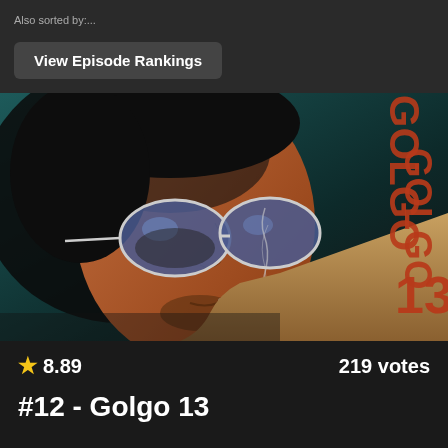Also sorted by:...
View Episode Rankings
[Figure (illustration): Anime screenshot from Golgo 13 showing a close-up of the main character with aviator sunglasses, smoking a cigarette, with the GOLGO 13 logo in the background]
★ 8.89    219 votes
#12 - Golgo 13